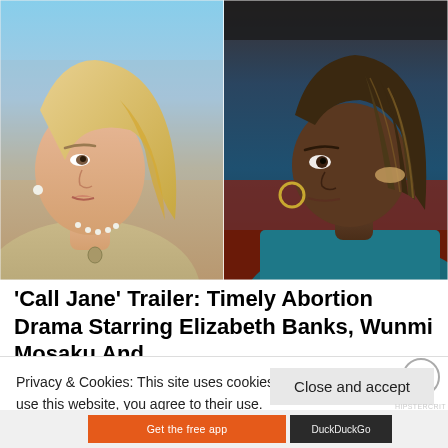[Figure (photo): Two side-by-side film stills: left shows a blonde white woman (Elizabeth Banks) speaking/emoting outdoors with a blue sky background, wearing a beige coat and pearl necklace; right shows a Black woman with braids (Wunmi Mosaku) looking sideways inside what appears to be a red vehicle, wearing a teal top and hoop earrings.]
'Call Jane' Trailer: Timely Abortion Drama Starring Elizabeth Banks, Wunmi Mosaku And
Privacy & Cookies: This site uses cookies. By continuing to use this website, you agree to their use. To find out more, including how to control
Cookie Policy
Close and accept